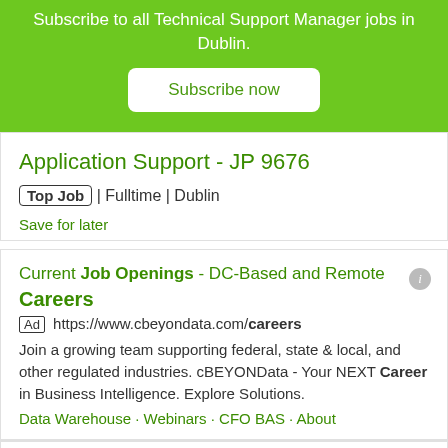Subscribe to all Technical Support Manager jobs in Dublin.
Subscribe now
Application Support - JP 9676
Top Job | Fulltime | Dublin
Save for later
Current Job Openings - DC-Based and Remote Careers
Ad https://www.cbeyondata.com/careers
Join a growing team supporting federal, state & local, and other regulated industries. cBEYONData - Your NEXT Career in Business Intelligence. Explore Solutions.
Data Warehouse · Webinars · CFO BAS · About
Tech Professionals For Hire - Hire More Women In